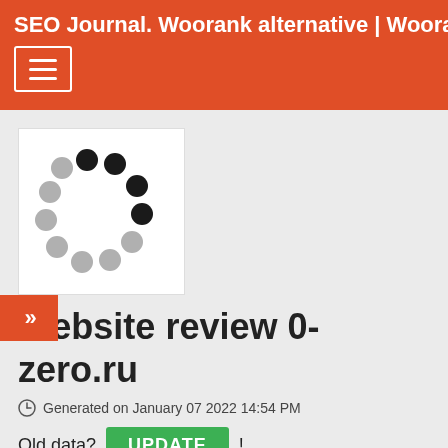SEO Journal. Woorank alternative | Woorank eq
[Figure (logo): Loading spinner logo with dark and grey dots arranged in a circle on white background]
Website review 0-zero.ru
Generated on January 07 2022 14:54 PM
Old data? UPDATE !